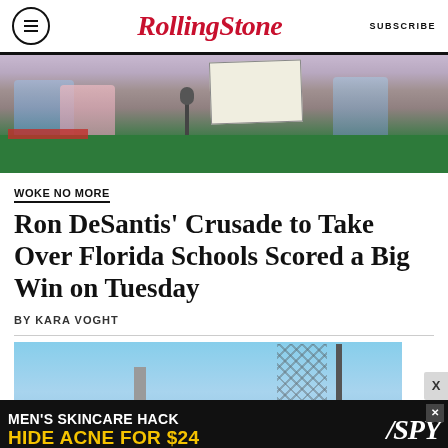Rolling Stone  SUBSCRIBE
[Figure (photo): Signing ceremony photo showing people at a table with a green cloth, microphone, and document being signed]
WOKE NO MORE
Ron DeSantis' Crusade to Take Over Florida Schools Scored a Big Win on Tuesday
BY KARA VOGHT
[Figure (photo): Industrial building with chimney and tower against a blue sky]
[Figure (photo): Advertisement: MEN'S SKINCARE HACK HIDE ACNE FOR $24 - SPY]